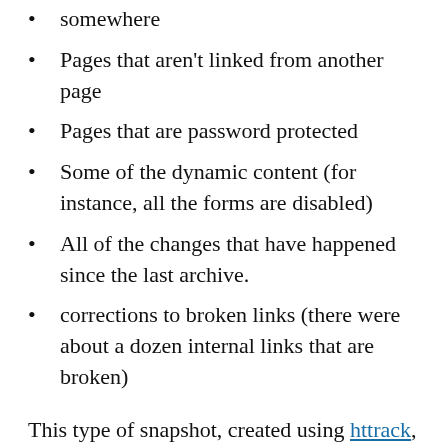somewhere
Pages that aren't linked from another page
Pages that are password protected
Some of the dynamic content (for instance, all the forms are disabled)
All of the changes that have happened since the last archive.
corrections to broken links (there were about a dozen internal links that are broken)
This type of snapshot, created using httrack, creates a standalone site that isn't dependent on a content management system, meaning it's very resistant to security problems, and is the only real option for creating a semi-permanent archive. I say semi-permanent, because while I intend to keep this archive up